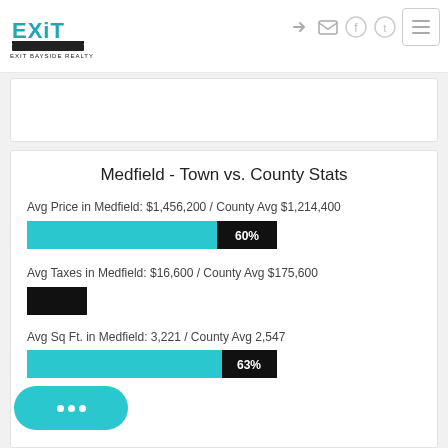[Figure (logo): EXIT Bayside Realty logo in teal and black]
Medfield - Town vs. County Stats
Avg Price in Medfield: $1,456,200 / County Avg $1,214,400
[Figure (bar-chart): Avg Price bar]
Avg Taxes in Medfield: $16,600 / County Avg $175,600
Avg Sq Ft. in Medfield: 3,221 / County Avg 2,547
[Figure (bar-chart): Avg Sq Ft bar]